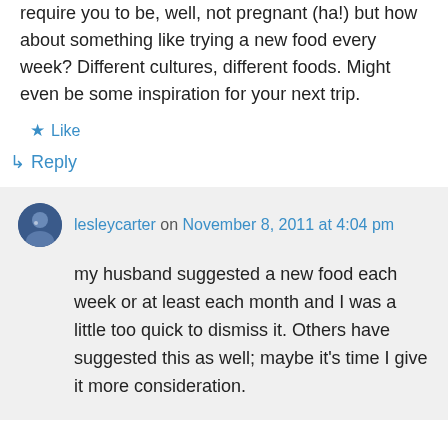require you to be, well, not pregnant (ha!) but how about something like trying a new food every week? Different cultures, different foods. Might even be some inspiration for your next trip.
★ Like
↳ Reply
lesleycarter on November 8, 2011 at 4:04 pm
my husband suggested a new food each week or at least each month and I was a little too quick to dismiss it. Others have suggested this as well; maybe it's time I give it more consideration.